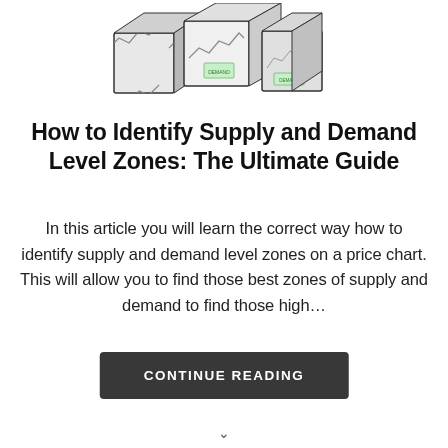[Figure (illustration): 3D illustration of Rubik's cube-like blocks with financial price charts and green demand zone labels on the faces]
How to Identify Supply and Demand Level Zones: The Ultimate Guide
In this article you will learn the correct way how to identify supply and demand level zones on a price chart. This will allow you to find those best zones of supply and demand to find those high...
CONTINUE READING